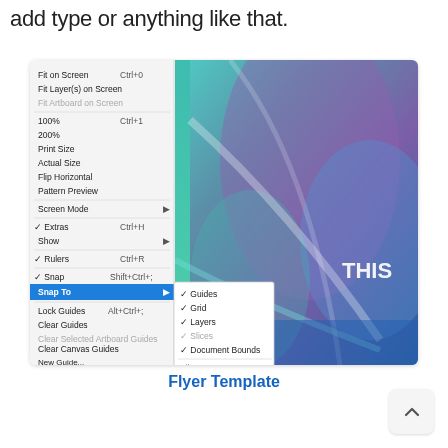add type or anything like that.
[Figure (screenshot): Illustrator View menu open showing 'Snap To' submenu highlighted in blue with checkmarks next to Guides, Grid, Layers, Slices, Document Bounds. Background shows a colorful abstract flyer template with teal, purple, and blue tones with 'THIS' text visible.]
Flyer Template